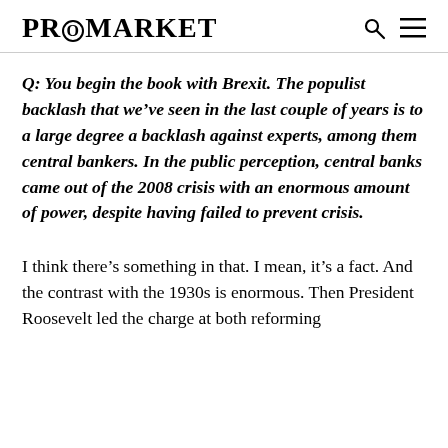PROMARKET
Q: You begin the book with Brexit. The populist backlash that we've seen in the last couple of years is to a large degree a backlash against experts, among them central bankers. In the public perception, central banks came out of the 2008 crisis with an enormous amount of power, despite having failed to prevent crisis.
I think there's something in that. I mean, it's a fact. And the contrast with the 1930s is enormous. Then President Roosevelt led the charge at both reforming